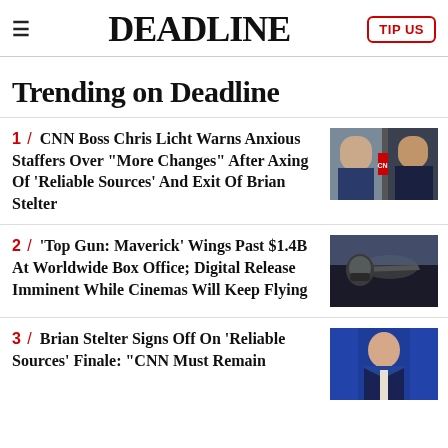DEADLINE | TIP US
Trending on Deadline
1 / CNN Boss Chris Licht Warns Anxious Staffers Over "More Changes" After Axing Of 'Reliable Sources' And Exit Of Brian Stelter
2 / 'Top Gun: Maverick' Wings Past $1.4B At Worldwide Box Office; Digital Release Imminent While Cinemas Will Keep Flying
3 / Brian Stelter Signs Off On 'Reliable Sources' Finale: "CNN Must Remain